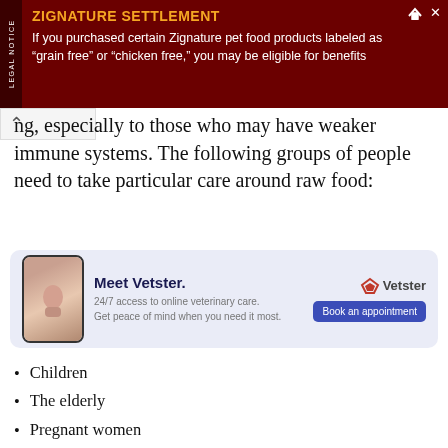LEGAL NOTICE — ZIGNATURE SETTLEMENT If you purchased certain Zignature pet food products labeled as "grain free" or "chicken free," you may be eligible for benefits
ng, especially to those who may have weaker immune systems. The following groups of people need to take particular care around raw food:
[Figure (infographic): Vetster advertisement box: Meet Vetster. 24/7 access to online veterinary care. Get peace of mind when you need it most. Book an appointment button. Vetster logo.]
Children
The elderly
Pregnant women
Immunocompromised individuals – for example people who may have cancer or are having chemotherapy treatment